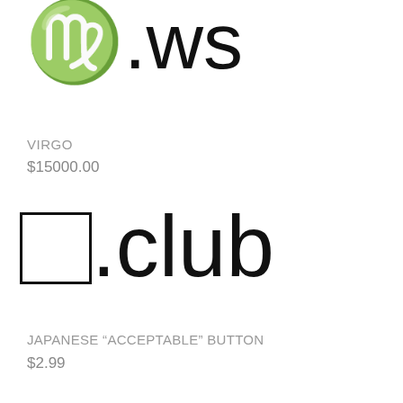♍.ws
VIRGO
$15000.00
🈚.club
JAPANESE "ACCEPTABLE" BUTTON
$2.99